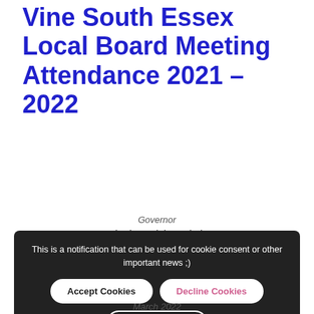Vine South Essex Local Board Meeting Attendance 2021 – 2022
Governor
Charlotte Little – Chair
September 2021
November 2021
January 2022
March 2022
[Figure (screenshot): Cookie consent notification overlay with dark background. Text reads: 'This is a notification that can be used for cookie consent or other important news ;)' with three buttons: 'Accept Cookies', 'Decline Cookies', and 'View Cookies'.]